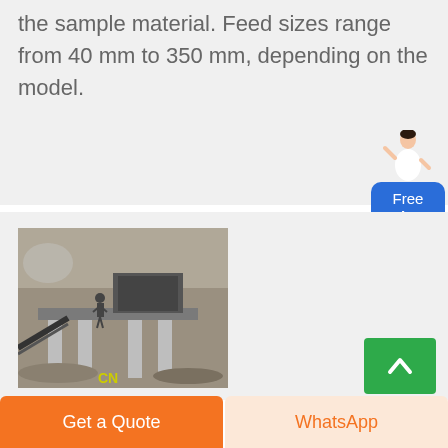the sample material. Feed sizes range from 40 mm to 350 mm, depending on the model.
[Figure (photo): Industrial crusher machine at a quarry/mining site with a worker standing on the platform. Yellow CN branding visible at the bottom.]
Free chat
Get a Quote
WhatsApp